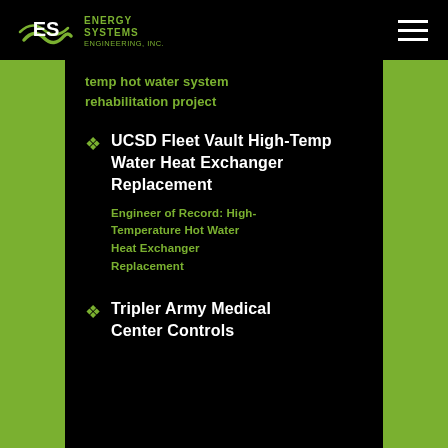Energy Systems Engineering, Inc.
temp hot water system rehabilitation project
UCSD Fleet Vault High-Temp Water Heat Exchanger Replacement
Engineer of Record: High-Temperature Hot Water Heat Exchanger Replacement
Tripler Army Medical Center Controls